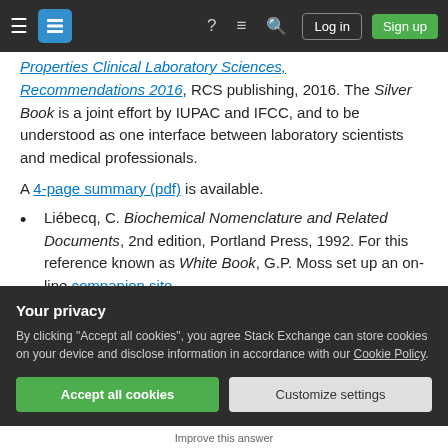Stack Exchange navigation bar with Log in and Sign up buttons
Properties Clinical Laboratory Sciences, Recommendations 2016, RCS publishing, 2016. The Silver Book is a joint effort by IUPAC and IFCC, and to be understood as one interface between laboratory scientists and medical professionals.
A 4-page summary (pdf) is available.
Liébecq, C. Biochemical Nomenclature and Related Documents, 2nd edition, Portland Press, 1992. For this reference known as White Book, G.P. Moss set up an on-line companion site.
Your privacy
By clicking "Accept all cookies", you agree Stack Exchange can store cookies on your device and disclose information in accordance with our Cookie Policy.
Accept all cookies | Customize settings
Improve this answer